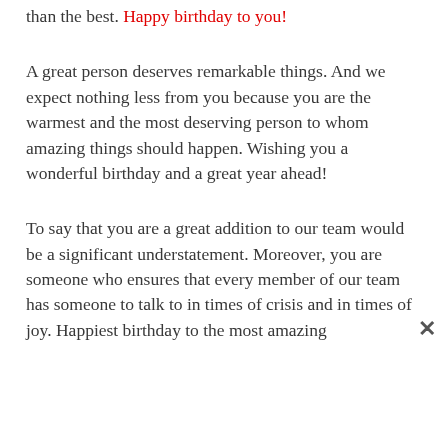than the best. Happy birthday to you!
A great person deserves remarkable things. And we expect nothing less from you because you are the warmest and the most deserving person to whom amazing things should happen. Wishing you a wonderful birthday and a great year ahead!
To say that you are a great addition to our team would be a significant understatement. Moreover, you are someone who ensures that every member of our team has someone to talk to in times of crisis and in times of joy. Happiest birthday to the most amazing...